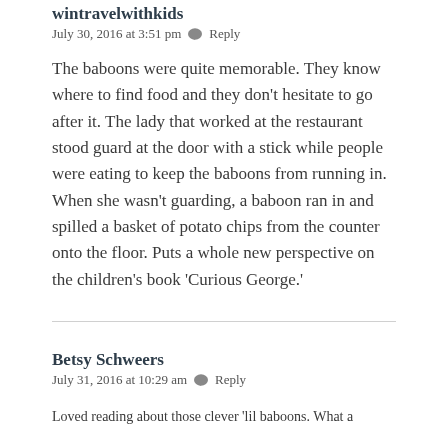wintravelwithkids
July 30, 2016 at 3:51 pm  💬  Reply
The baboons were quite memorable. They know where to find food and they don't hesitate to go after it. The lady that worked at the restaurant stood guard at the door with a stick while people were eating to keep the baboons from running in. When she wasn't guarding, a baboon ran in and spilled a basket of potato chips from the counter onto the floor. Puts a whole new perspective on the children's book 'Curious George.'
Betsy Schweers
July 31, 2016 at 10:29 am  💬  Reply
Loved reading about those clever 'lil baboons. What a